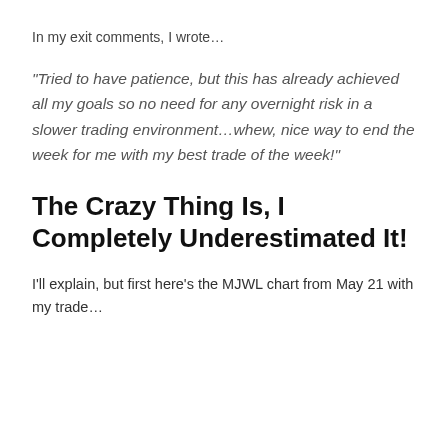In my exit comments, I wrote…
“Tried to have patience, but this has already achieved all my goals so no need for any overnight risk in a slower trading environment…whew, nice way to end the week for me with my best trade of the week!”
The Crazy Thing Is, I Completely Underestimated It!
I’ll explain, but first here’s the MJWL chart from May 21 with my trade…